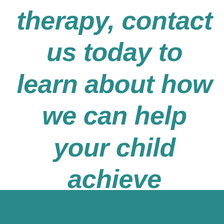therapy, contact us today to learn about how we can help your child achieve success and grow.
[Figure (other): Solid teal/dark cyan rectangular bar at the bottom of the page]